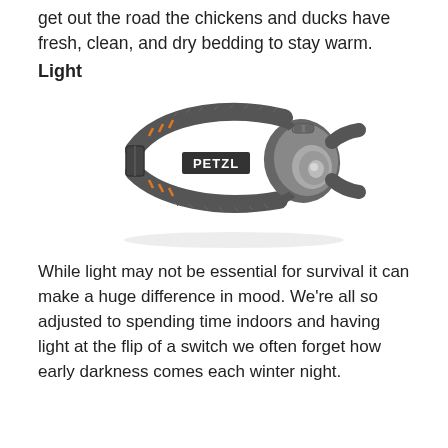get out the road the chickens and ducks have fresh, clean, and dry bedding to stay warm.
Light
[Figure (photo): A Petzl headlamp with a gray adjustable strap featuring orange accents and the PETZL logo, shown from the front with the LED lamp unit visible on the right side.]
While light may not be essential for survival it can make a huge difference in mood. We’re all so adjusted to spending time indoors and having light at the flip of a switch we often forget how early darkness comes each winter night.